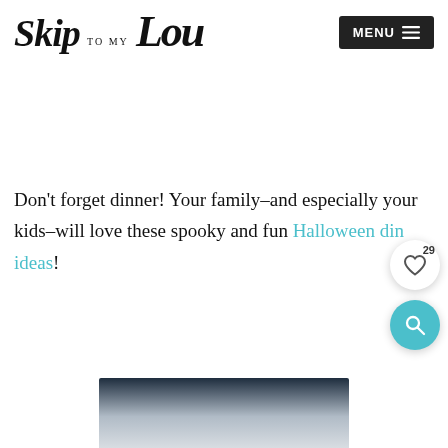Skip to my Lou — MENU
Don't forget dinner!  Your family–and especially your kids–will love these spooky and fun Halloween dinner ideas!
[Figure (photo): Partial photo of a dark and light themed Halloween dish or scene, cropped at bottom of page]